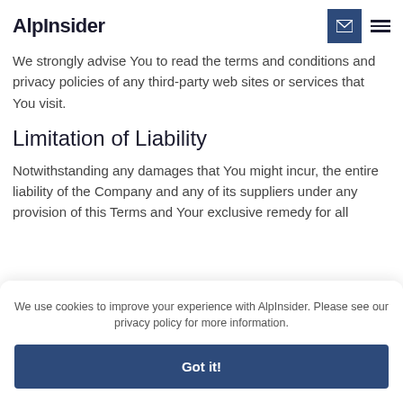AlpInsider
We strongly advise You to read the terms and conditions and privacy policies of any third-party web sites or services that You visit.
Limitation of Liability
Notwithstanding any damages that You might incur, the entire liability of the Company and any of its suppliers under any provision of this Terms and Your exclusive remedy for all
We use cookies to improve your experience with AlpInsider. Please see our privacy policy for more information.
Got it!